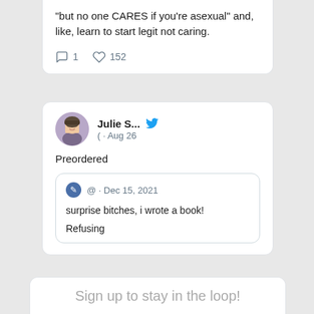"but no one CARES if you're asexual" and, like, learn to start legit not caring.
1  152
Julie S... · Aug 26
Preordered
@ · Dec 15, 2021
surprise bitches, i wrote a book!
Refusing
Sign up to stay in the loop!